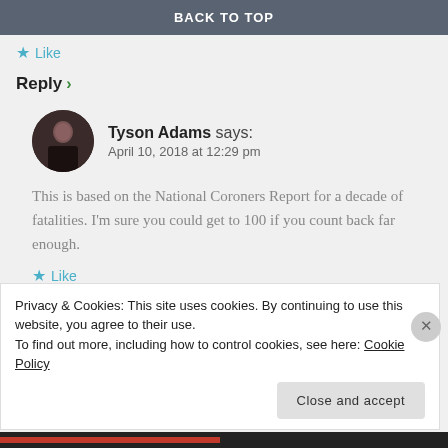BACK TO TOP
★ Like
Reply >
Tyson Adams says:
April 10, 2018 at 12:29 pm
This is based on the National Coroners Report for a decade of fatalities. I'm sure you could get to 100 if you count back far enough.
★ Like
Privacy & Cookies: This site uses cookies. By continuing to use this website, you agree to their use.
To find out more, including how to control cookies, see here: Cookie Policy
Close and accept